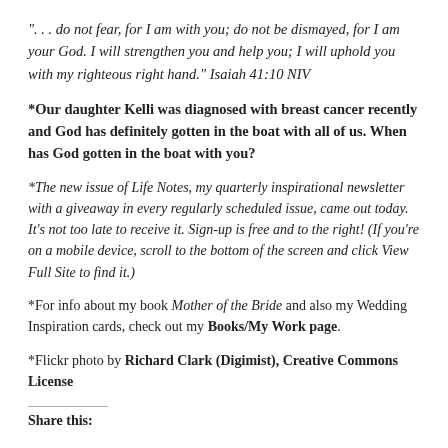“. . . do not fear, for I am with you; do not be dismayed, for I am your God. I will strengthen you and help you; I will uphold you with my righteous right hand.” Isaiah 41:10 NIV
*Our daughter Kelli was diagnosed with breast cancer recently and God has definitely gotten in the boat with all of us. When has God gotten in the boat with you?
*The new issue of Life Notes, my quarterly inspirational newsletter with a giveaway in every regularly scheduled issue, came out today. It’s not too late to receive it. Sign-up is free and to the right! (If you’re on a mobile device, scroll to the bottom of the screen and click View Full Site to find it.)
*For info about my book Mother of the Bride and also my Wedding Inspiration cards, check out my Books/My Work page.
*Flickr photo by Richard Clark (Digimist), Creative Commons License
Share this: